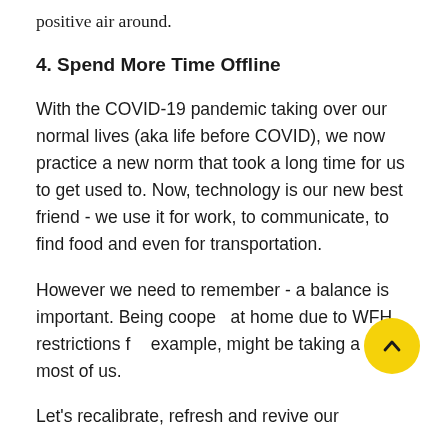positive air around.
4. Spend More Time Offline
With the COVID-19 pandemic taking over our normal lives (aka life before COVID), we now practice a new norm that took a long time for us to get used to. Now, technology is our new best friend - we use it for work, to communicate, to find food and even for transportation.
However we need to remember - a balance is important. Being cooped at home due to WFH restrictions for example, might be taking a toll on most of us.
Let's recalibrate, refresh and revive our